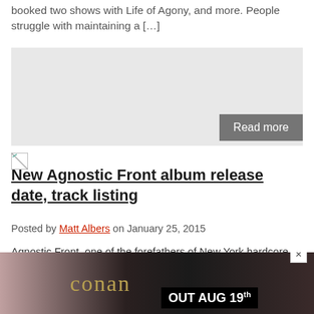booked two shows with Life of Agony, and more. People struggle with maintaining a […]
[Figure (other): Gray placeholder content block with 'Read more' button]
[Figure (other): Broken image icon placeholder]
New Agnostic Front album release date, track listing
Posted by Matt Albers on January 25, 2015
Agnostic Front, one of the forefathers of New York hardcore, will release The American Dream Died, their eleventh album to date, on April 4, 2015 on Nuclear Blast. Produced by Freddy Crician, vocalist for Madball, the album was also mixed and mastered by Paul Miner (H2O, Terror). The band's vocalist, Roger Miret, had the following to […]
[Figure (photo): Advertisement banner for Conan 'Evidence of Immortality' album, OUT AUG 19th]